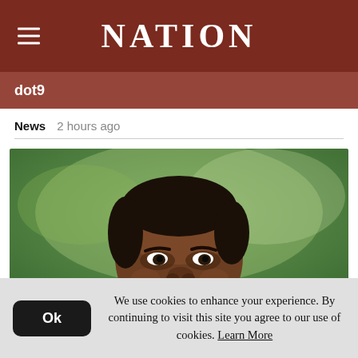NATION
dot9
News  2 hours ago
[Figure (photo): Portrait photo of a smiling elderly African man with a green blurred background]
We use cookies to enhance your experience. By continuing to visit this site you agree to our use of cookies. Learn More